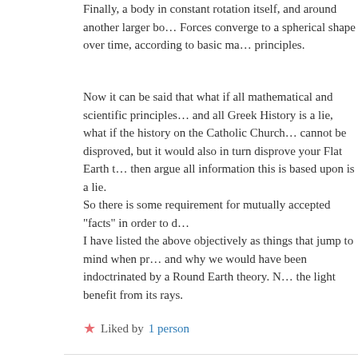Finally, a body in constant rotation itself, and around another larger bo... Forces converge to a spherical shape over time, according to basic ma... principles.
Now it can be said that what if all mathematical and scientific principles... and all Greek History is a lie, what if the history on the Catholic Church... cannot be disproved, but it would also in turn disprove your Flat Earth t... then argue all information this is based upon is a lie.
So there is some requirement for mutually accepted “facts” in order to d...
I have listed the above objectively as things that jump to mind when pr... and why we would have been indoctrinated by a Round Earth theory. N... the light benefit from its rays.
★ Liked by 1 person
Michael Glenn Briggs August 1, 2016 at 3:10 am Reply
read your bible what does it say read psalms 104 ... Earth upon it’s foundations so that it will never mo...
it is completely still so when were told…it’s moving 67,000 miles...